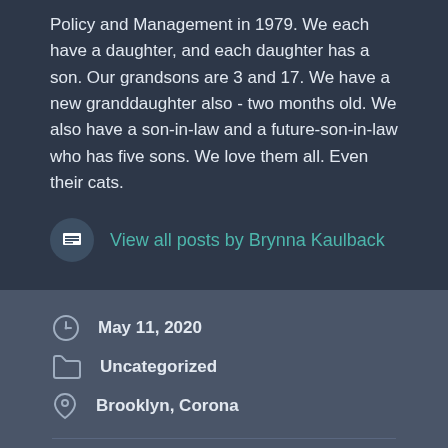Policy and Management in 1979. We each have a daughter, and each daughter has a son. Our grandsons are 3 and 17. We have a new granddaughter also - two months old. We also have a son-in-law and a future-son-in-law who has five sons. We love them all. Even their cats.
View all posts by Brynna Kaulback
May 11, 2020
Uncategorized
Brooklyn, Corona
The Land of the Living
Memorial Weekend: Opening the Covid Door